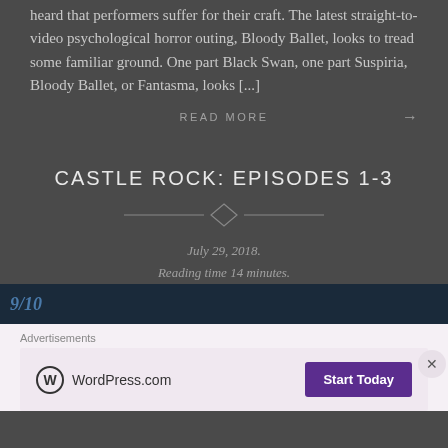heard that performers suffer for their craft. The latest straight-to-video psychological horror outing, Bloody Ballet, looks to tread some familiar ground. One part Black Swan, one part Suspiria, Bloody Ballet, or Fantasma, looks [...]
READ MORE →
CASTLE ROCK: EPISODES 1-3
July 29, 2018.
Reading time 14 minutes.
[Figure (screenshot): Dark blue image strip partially visible at bottom of dark section]
Advertisements
[Figure (infographic): WordPress.com advertisement banner with logo and Start Today button on pink/lavender background]